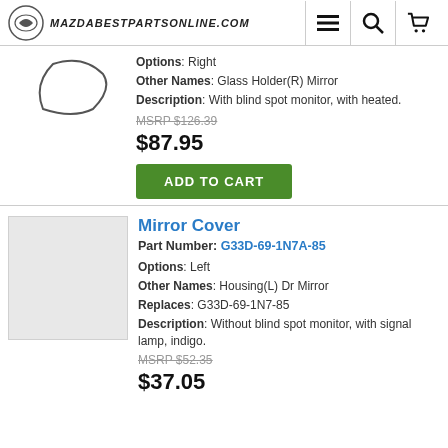mazdabestpartsonline.com
Options: Right
Other Names: Glass Holder(R) Mirror
Description: With blind spot monitor, with heated.
MSRP $126.39
$87.95
ADD TO CART
Mirror Cover
Part Number: G33D-69-1N7A-85
Options: Left
Other Names: Housing(L) Dr Mirror
Replaces: G33D-69-1N7-85
Description: Without blind spot monitor, with signal lamp, indigo.
MSRP $52.35
$37.05